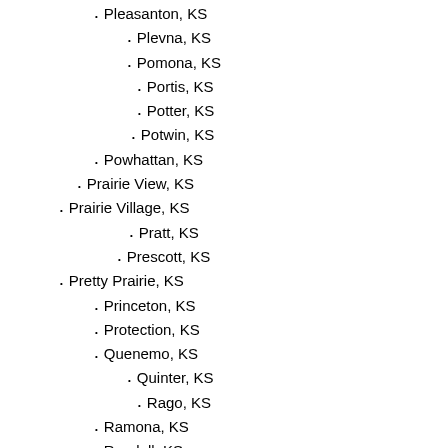Pleasanton, KS
Plevna, KS
Pomona, KS
Portis, KS
Potter, KS
Potwin, KS
Powhattan, KS
Prairie View, KS
Prairie Village, KS
Pratt, KS
Prescott, KS
Pretty Prairie, KS
Princeton, KS
Protection, KS
Quenemo, KS
Quinter, KS
Rago, KS
Ramona, KS
Randall, KS
Randolph, KS
Ransom, KS
Rantoul, KS